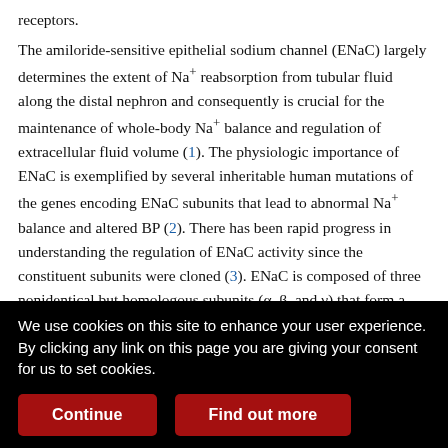receptors.
The amiloride-sensitive epithelial sodium channel (ENaC) largely determines the extent of Na+ reabsorption from tubular fluid along the distal nephron and consequently is crucial for the maintenance of whole-body Na+ balance and regulation of extracellular fluid volume (1). The physiologic importance of ENaC is exemplified by several inheritable human mutations of the genes encoding ENaC subunits that lead to abnormal Na+ balance and altered BP (2). There has been rapid progress in understanding the regulation of ENaC activity since the constituent subunits were cloned (3). ENaC is composed of three nonidentical but homologous subunits (α, β, and γ) that form a tetrameric structure with a stoichiometry of two α-, one β-, and one γ-subunit(s) (4). Expression of these ENaC subunits in Xenopus laevis
We use cookies on this site to enhance your user experience. By clicking any link on this page you are giving your consent for us to set cookies.